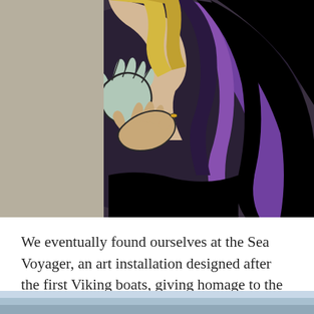[Figure (photo): Close-up of a mural or art installation featuring stylized comic-book style artwork showing hands and flowing purple/violet hair against a dark background, with bold outlines in the style of pop art.]
We eventually found ourselves at the Sea Voyager, an art installation designed after the first Viking boats, giving homage to the first people who colonized Iceland. It would be apparent over the next week of how important the Viking heritage was to the Icelandic people through folk stories being told.
[Figure (photo): Partial view of another outdoor scene, appears to be a light blue/grey sky or water scene at the bottom of the page.]